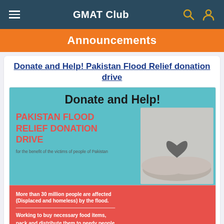GMAT Club
Announcements
Donate and Help! Pakistan Flood Relief donation drive
[Figure (infographic): Pakistan Flood Relief Donation Drive infographic with teal and red background. Top section: 'Donate and Help!' in bold black, 'PAKISTAN FLOOD RELIEF RELIEF DONATION DRIVE' in red text on teal background, 'for the benefit of the victims of people of Pakistan' in small text. Right side shows hands holding a heart-shaped stone. Red bottom section: 'More than 30 million people are affected (Displaced and homeless) by the flood.' and 'Working to buy necessary food items, pack and distribute them to needy people.']
[Figure (screenshot): UNC Kenan-Flagler Business School advertisement. 'INSPIRE AND BE INSPIRED. THE FULL-TIME MBA' with LEARN MORE button in yellow.]